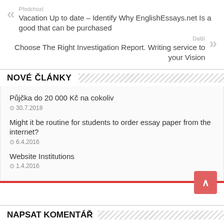Předchozí
Vacation Up to date – Identify Why EnglishEssays.net Is a good that can be purchased
Další
Choose The Right Investigation Report. Writing service to your Vision
NOVÉ ČLÁNKY
Půjčka do 20 000 Kč na cokoliv
30.7.2018
Might it be routine for students to order essay paper from the internet?
6.4.2016
Website Institutions
1.4.2016
NAPSAT KOMENTÁŘ